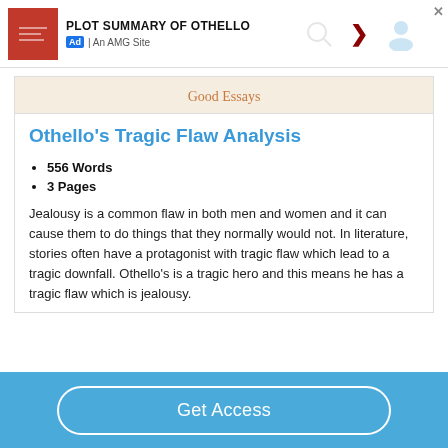[Figure (screenshot): Ad banner for 'Plot Summary of Othello' on An AMG Site, with red thumbnail, right arrow, search and person icons, and close button]
Good Essays
Othello's Tragic Flaw Analysis
556 Words
3 Pages
Jealousy is a common flaw in both men and women and it can cause them to do things that they normally would not. In literature, stories often have a protagonist with tragic flaw which lead to a tragic downfall. Othello's is a tragic hero and this means he has a tragic flaw which is jealousy.
Get Access